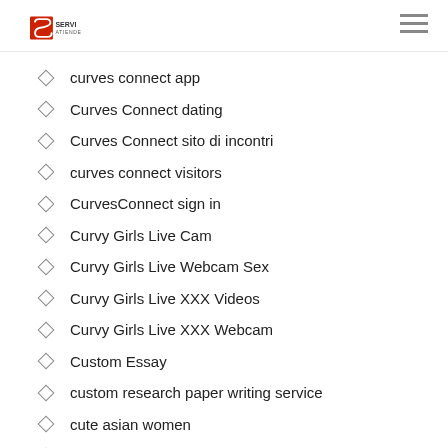Servi Atiende logo and navigation
curves connect app
Curves Connect dating
Curves Connect sito di incontri
curves connect visitors
CurvesConnect sign in
Curvy Girls Live Cam
Curvy Girls Live Webcam Sex
Curvy Girls Live XXX Videos
Curvy Girls Live XXX Webcam
Custom Essay
custom research paper writing service
cute asian women
dabble mobile
Dabble online dating
dabble reddit
DaddyHunt app
daddyhunt hookup apps